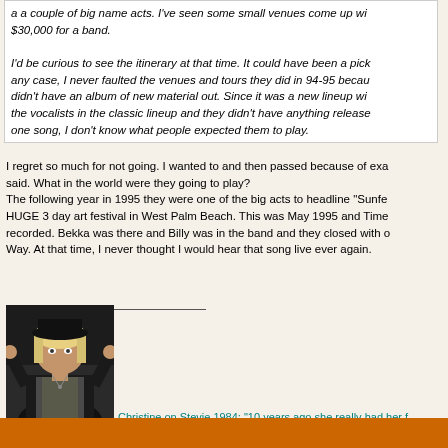a a couple of big name acts. I've seen some small venues come up with $30,000 for a band. I'd be curious to see the itinerary at that time. It could have been a pick... any case, I never faulted the venues and tours they did in 94-95 because... didn't have an album of new material out. Since it was a new lineup wi... the vocalists in the classic lineup and they didn't have anything release... one song, I don't know what people expected them to play.
I regret so much for not going. I wanted to and then passed because of exa... said. What in the world were they going to play? The following year in 1995 they were one of the big acts to headline "Sunfe... HUGE 3 day art festival in West Palm Beach. This was May 1995 and Time... recorded. Bekka was there and Billy was in the band and they closed with... Way. At that time, I never thought I would hear that song live ever again.
[Figure (photo): Photo of a blonde woman wearing a black hat and black jacket, posed with hands raised near head]
Christine on Stevie 1984: "10 years ago she really had her f... ground but she seems to have developed her own fantasy world, somehow... part of. We don't socialize much."